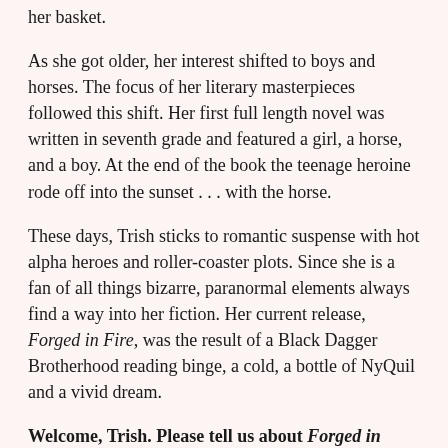her basket.
As she got older, her interest shifted to boys and horses. The focus of her literary masterpieces followed this shift. Her first full length novel was written in seventh grade and featured a girl, a horse, and a boy. At the end of the book the teenage heroine rode off into the sunset . . . with the horse.
These days, Trish sticks to romantic suspense with hot alpha heroes and roller-coaster plots. Since she is a fan of all things bizarre, paranormal elements always find a way into her fiction. Her current release, Forged in Fire, was the result of a Black Dagger Brotherhood reading binge, a cold, a bottle of NyQuil and a vivid dream.
Welcome, Trish. Please tell us about Forged in Fire.
Beth Brown doesn't believe in premonitions until she dreams a sexy stranger is gunned down during the brutal hijacking of a commercial airliner. When events in her dream start coming true, she heads to the flight's departure gate. To her shock, she recognizes the man she'd watched die the night before.